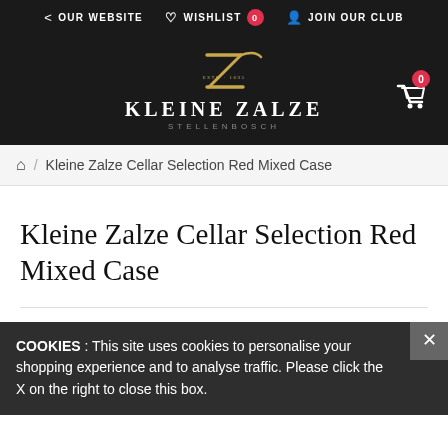< OUR WEBSITE   ♡ WISHLIST 0   JOIN OUR CLUB
[Figure (logo): Kleine Zalze Stellenbosch logo with stylized gold Z and serif wordmark on dark background]
🏠 / Kleine Zalze Cellar Selection Red Mixed Case
Kleine Zalze Cellar Selection Red Mixed Case
COOKIES : This site uses cookies to personalise your shopping experience and to analyse traffic. Please click the X on the right to close this box.